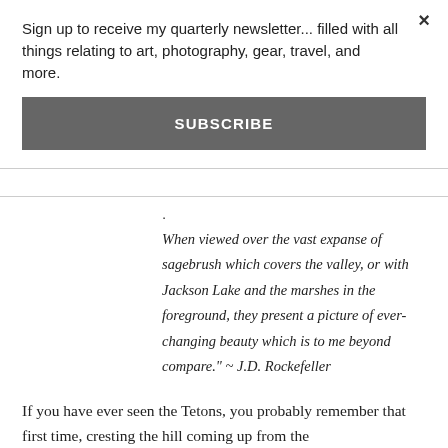Sign up to receive my quarterly newsletter... filled with all things relating to art, photography, gear, travel, and more.
SUBSCRIBE
.When viewed over the vast expanse of sagebrush which covers the valley, or with Jackson Lake and the marshes in the foreground, they present a picture of ever-changing beauty which is to me beyond compare." ~ J.D. Rockefeller
If you have ever seen the Tetons, you probably remember that first time, cresting the hill coming up from the